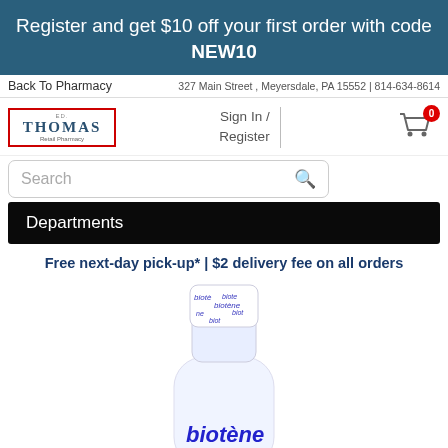Register and get $10 off your first order with code NEW10
Back To Pharmacy
327 Main Street , Meyersdale, PA 15552 | 814-634-8614
[Figure (logo): Thomas Pharmacy logo with red border and blue text]
Sign In / Register
Search
0 (cart badge)
Departments
Free next-day pick-up* | $2 delivery fee on all orders
[Figure (photo): Biotene mouthwash bottle, white with blue biotene branding, showing top portion and label]